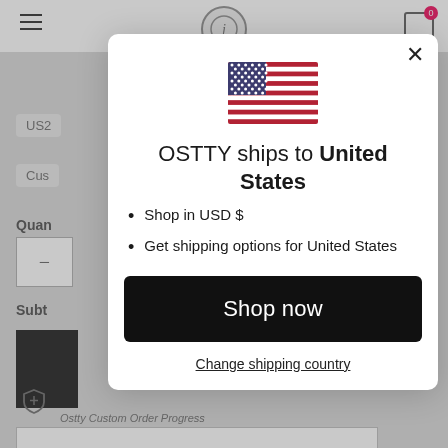[Figure (screenshot): Background of an e-commerce website page (OSTTY) with navigation, quantity selector, subtotal, and buttons, partially obscured by a modal overlay.]
OSTTY ships to United States
Shop in USD $
Get shipping options for United States
Shop now
Change shipping country